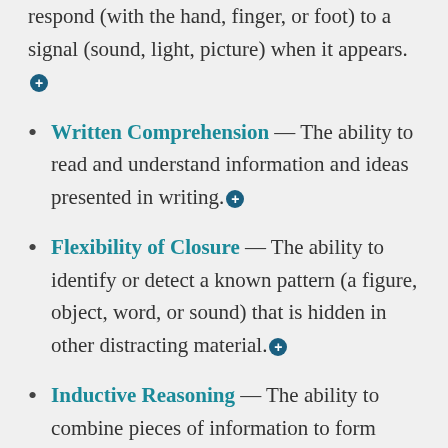respond (with the hand, finger, or foot) to a signal (sound, light, picture) when it appears.⊕
Written Comprehension — The ability to read and understand information and ideas presented in writing.⊕
Flexibility of Closure — The ability to identify or detect a known pattern (a figure, object, word, or sound) that is hidden in other distracting material.⊕
Inductive Reasoning — The ability to combine pieces of information to form general rules or conclusions (includes finding a relationship among seemingly